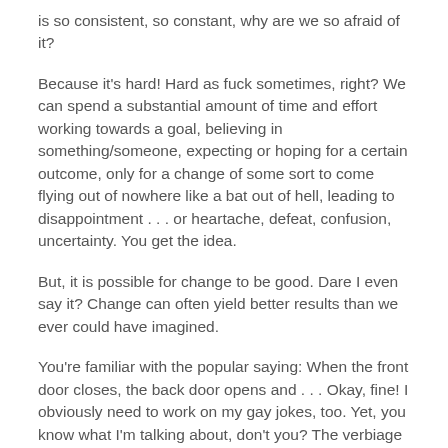is so consistent, so constant, why are we so afraid of it?
Because it's hard! Hard as fuck sometimes, right? We can spend a substantial amount of time and effort working towards a goal, believing in something/someone, expecting or hoping for a certain outcome, only for a change of some sort to come flying out of nowhere like a bat out of hell, leading to disappointment . . . or heartache, defeat, confusion, uncertainty. You get the idea.
But, it is possible for change to be good. Dare I even say it? Change can often yield better results than we ever could have imagined.
You're familiar with the popular saying: When the front door closes, the back door opens and . . . Okay, fine! I obviously need to work on my gay jokes, too. Yet, you know what I'm talking about, don't you? The verbiage created to make us all see the positive side of change versus the negative side. Lines like one thing ends or falls apart so an even better